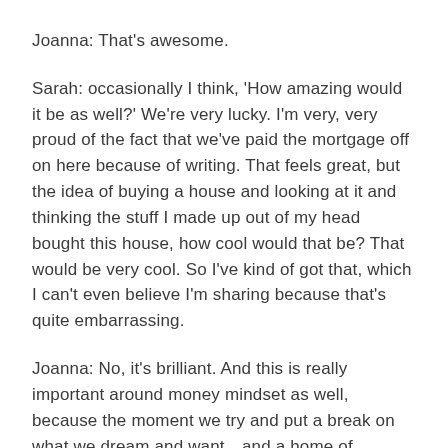Joanna: That's awesome.
Sarah: occasionally I think, 'How amazing would it be as well?' We're very lucky. I'm very, very proud of the fact that we've paid the mortgage off on here because of writing. That feels great, but the idea of buying a house and looking at it and thinking the stuff I made up out of my head bought this house, how cool would that be? That would be very cool. So I've kind of got that, which I can't even believe I'm sharing because that's quite embarrassing.
Joanna: No, it's brilliant. And this is really important around money mindset as well, because the moment we try and put a break on what we dream and want…and a home of whatever kind is absolutely a part of know, human nature to want